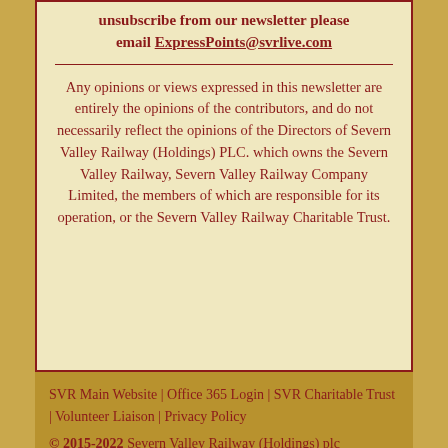unsubscribe from our newsletter please email ExpressPoints@svrlive.com
Any opinions or views expressed in this newsletter are entirely the opinions of the contributors, and do not necessarily reflect the opinions of the Directors of Severn Valley Railway (Holdings) PLC. which owns the Severn Valley Railway, Severn Valley Railway Company Limited, the members of which are responsible for its operation, or the Severn Valley Railway Charitable Trust.
SVR Main Website | Office 365 Login | SVR Charitable Trust | Volunteer Liaison | Privacy Policy © 2015-2022 Severn Valley Railway (Holdings) plc